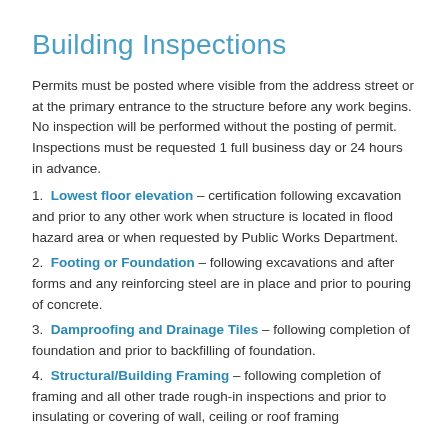Building Inspections
Permits must be posted where visible from the address street or at the primary entrance to the structure before any work begins. No inspection will be performed without the posting of permit. Inspections must be requested 1 full business day or 24 hours in advance.
1. Lowest floor elevation – certification following excavation and prior to any other work when structure is located in flood hazard area or when requested by Public Works Department.
2. Footing or Foundation – following excavations and after forms and any reinforcing steel are in place and prior to pouring of concrete.
3. Damproofing and Drainage Tiles – following completion of foundation and prior to backfilling of foundation.
4. Structural/Building Framing – following completion of framing and all other trade rough-in inspections and prior to insulating or covering of wall, ceiling or roof framing